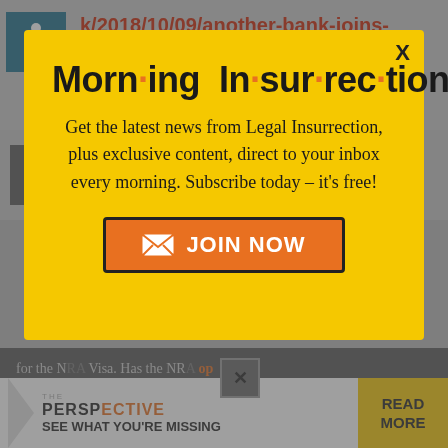k/2018/10/09/another-bank-joins-list-wont-business-gun-makers/
for the NRA Visa. Has the NRA obtained a replacement card...
Morn·ing In·sur·rec·tion
Get the latest news from Legal Insurrection, plus exclusive content, direct to your inbox every morning. Subscribe today – it's free!
JOIN NOW
SEE WHAT YOU'RE MISSING
READ MORE